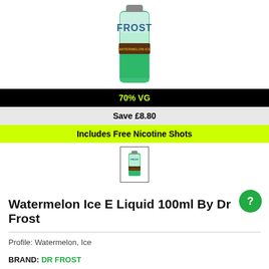[Figure (photo): Dr Frost Watermelon Ice e-liquid bottle product photo, showing green bottle with icy frost branding and 'WATERMELON ICE' text]
70% VG
Save £8.80
Includes Free Nicotine Shots
[Figure (photo): Small thumbnail image of the Dr Frost Watermelon Ice e-liquid bottle]
Watermelon Ice E Liquid 100ml By Dr Frost
Profile: Watermelon, Ice
BRAND: DR FROST